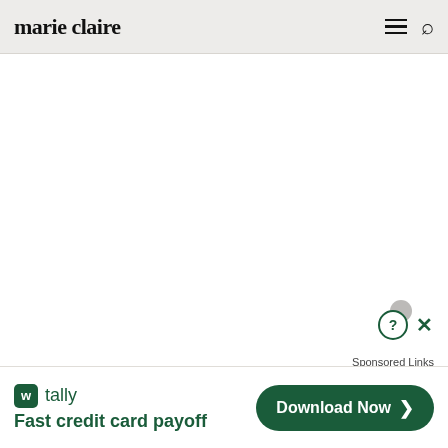marie claire
[Figure (screenshot): White blank content area below the header navigation]
Sponsored Links
[Figure (photo): Advertisement banner with blue sky background for Tally app]
[Figure (infographic): Tally app advertisement banner showing 'tally / Fast credit card payoff' with 'Download Now' button]